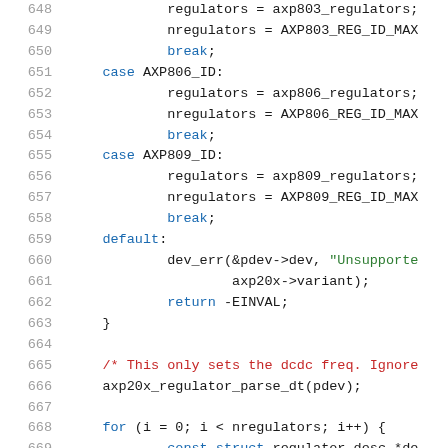Source code listing, lines 648-669, C kernel driver code for AXP20x regulator
[Figure (screenshot): C source code showing a switch statement handling AXP806_ID and AXP809_ID cases, a default case with dev_err, return -EINVAL, a comment about dcdc freq, axp20x_regulator_parse_dt call, and a for loop beginning]